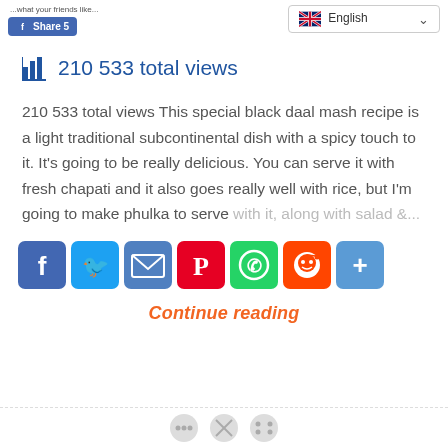[Figure (screenshot): Top bar with Facebook Like button, Share 5 button, friends like text, and English language selector dropdown]
210 533 total views
210 533 total views This special black daal mash recipe is a light traditional subcontinental dish with a spicy touch to it. It's going to be really delicious. You can serve it with fresh chapati and it also goes really well with rice, but I'm going to make phulka to serve with it, along with salad &...
[Figure (infographic): Social sharing icons: Facebook, Twitter, Email, Pinterest, WhatsApp, Reddit, Share (AddThis)]
Continue reading
Navigation dots at bottom